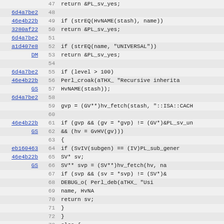[Figure (screenshot): Source code viewer showing lines 47-79 of a Perl C source file with commit annotations (git blame view). Columns: commit hash (linked), line number, code content. Background is light gray with alternating row highlights.]